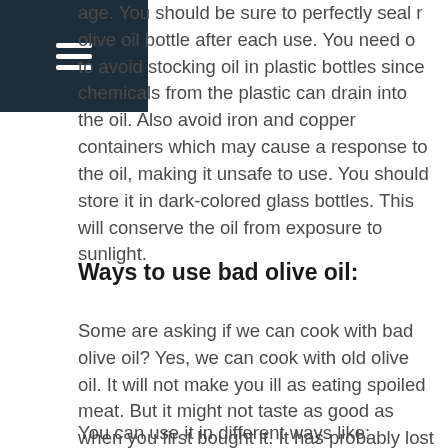age. You should be sure to perfectly seal r olive oil bottle after each use. You need o to avoid stocking oil in plastic bottles since chemicals from the plastic can drain into the oil. Also avoid iron and copper containers which may cause a response to the oil, making it unsafe to use. You should store it in dark-colored glass bottles. This will conserve the oil from exposure to sunlight.
Ways to use bad olive oil:
Some are asking if we can cook with bad olive oil? Yes, we can cook with old olive oil. It will not make you ill as eating spoiled meat. But it might not taste as good as when you first bought it. It has probably lost any healthy importance by losing antioxidants. Of course, some people might tolerate the strong smell and taste of old oil, but others will dislike it. It is up to your personal preferences.
You can use it in different ways like: